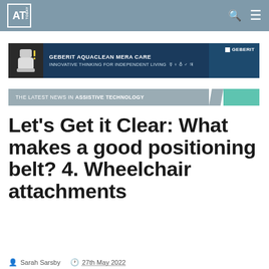AT Today
[Figure (other): Geberit AquaClean Mera Care advertisement banner — INNOVATIVE THINKING FOR INDEPENDENT LIVING]
THE LATEST NEWS IN ASSISTIVE TECHNOLOGY
Let's Get it Clear: What makes a good positioning belt? 4. Wheelchair attachments
Sarah Sarsby   27th May 2022